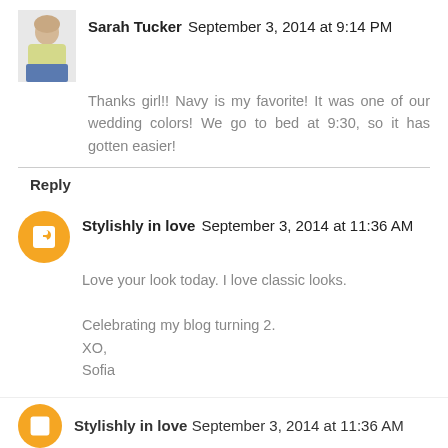[Figure (photo): Small profile photo of Sarah Tucker showing a woman in a yellow top and blue skirt]
Sarah Tucker September 3, 2014 at 9:14 PM
Thanks girl!! Navy is my favorite! It was one of our wedding colors! We go to bed at 9:30, so it has gotten easier!
Reply
[Figure (logo): Orange circle with white blogger B icon - avatar for Stylishly in love]
Stylishly in love September 3, 2014 at 11:36 AM
Love your look today. I love classic looks.

Celebrating my blog turning 2.
XO,
Sofia

stylishlyinlove.blogspot.com
Reply
[Figure (logo): Orange circle with white blogger B icon - avatar for Stylishly in love (partial, bottom)]
Stylishly in love September 3, 2014 at 11:36 AM (partial)